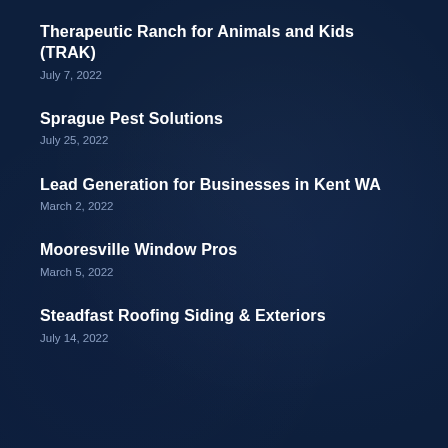Therapeutic Ranch for Animals and Kids (TRAK)
July 7, 2022
Sprague Pest Solutions
July 25, 2022
Lead Generation for Businesses in Kent WA
March 2, 2022
Mooresville Window Pros
March 5, 2022
Steadfast Roofing Siding & Exteriors
July 14, 2022